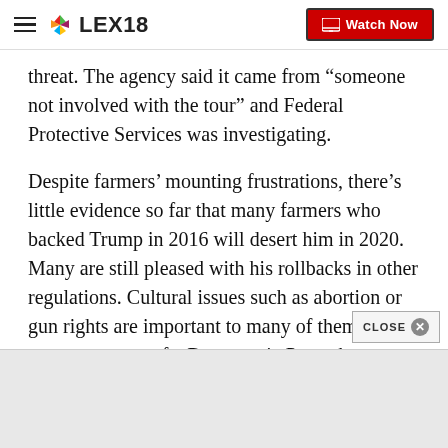LEX18 | Watch Now
threat. The agency said it came from “someone not involved with the tour” and Federal Protective Services was investigating.
Despite farmers’ mounting frustrations, there’s little evidence so far that many farmers who backed Trump in 2016 will desert him in 2020. Many are still pleased with his rollbacks in other regulations. Cultural issues such as abortion or gun rights are important to many of them. And many are wary of a Democratic Party they see as growing more liberal.